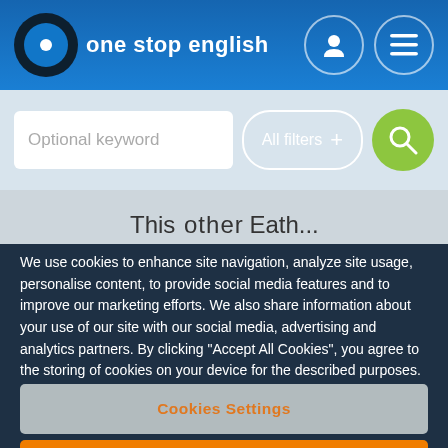one stop english
[Figure (screenshot): One Stop English website header with logo, search bar with 'Optional keyword' placeholder, 'All filters +' button, and green search button]
We use cookies to enhance site navigation, analyze site usage, personalise content, to provide social media features and to improve our marketing efforts. We also share information about your use of our site with our social media, advertising and analytics partners. By clicking “Accept All Cookies”, you agree to the storing of cookies on your device for the described purposes.
Cookies Settings
Reject All